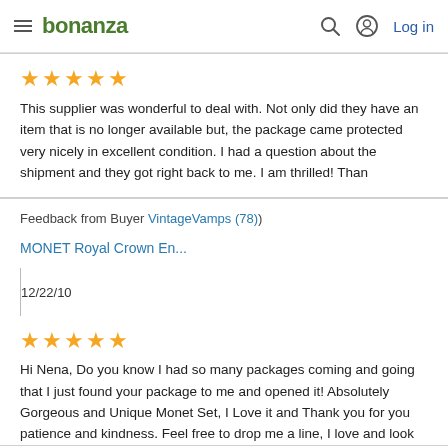bonanza | Log in
★★★★★
This supplier was wonderful to deal with. Not only did they have an item that is no longer available but, the package came protected very nicely in excellent condition. I had a question about the shipment and they got right back to me. I am thrilled! Than
Feedback from Buyer VintageVamps (78)
MONET Royal Crown En...
12/22/10
★★★★★
Hi Nena, Do you know I had so many packages coming and going that I just found your package to me and opened it! Absolutely Gorgeous and Unique Monet Set, I Love it and Thank you for you patience and kindness. Feel free to drop me a line, I love and look